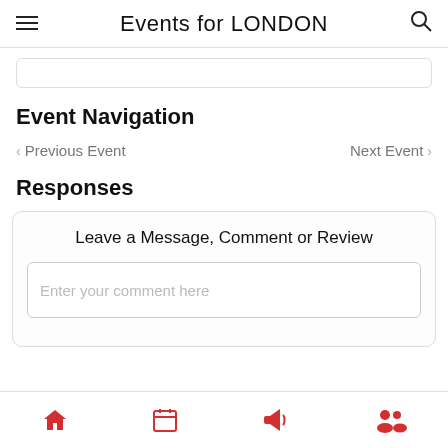Events for LONDON
Event Navigation
< Previous Event     Next Event >
Responses
Leave a Message, Comment or Review
Enter your comment here
Home | Calendar | Megaphone | People